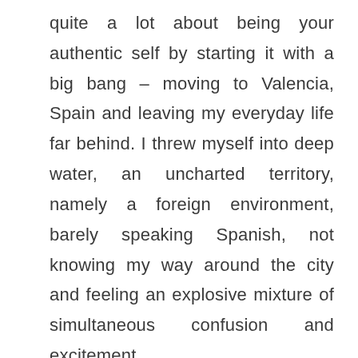quite a lot about being your authentic self by starting it with a big bang – moving to Valencia, Spain and leaving my everyday life far behind. I threw myself into deep water, an uncharted territory, namely a foreign environment, barely speaking Spanish, not knowing my way around the city and feeling an explosive mixture of simultaneous confusion and excitement.
At first, I struggled with expressing myself